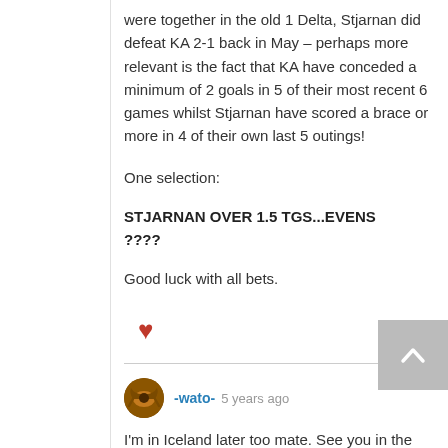were together in the old 1 Delta, Stjarnan did defeat KA 2-1 back in May – perhaps more relevant is the fact that KA have conceded a minimum of 2 goals in 5 of their most recent 6 games whilst Stjarnan have scored a brace or more in 4 of their own last 5 outings!
One selection:
STJARNAN OVER 1.5 TGS...EVENS
????
Good luck with all bets.
[Figure (illustration): Red heart emoji/icon]
[Figure (illustration): Scroll-to-top button with upward chevron arrow, grey background]
[Figure (illustration): User avatar icon for -wato-, circular brown/orange icon with longhorn logo]
-wato-  5 years ago
I'm in Iceland later too mate. See you in the